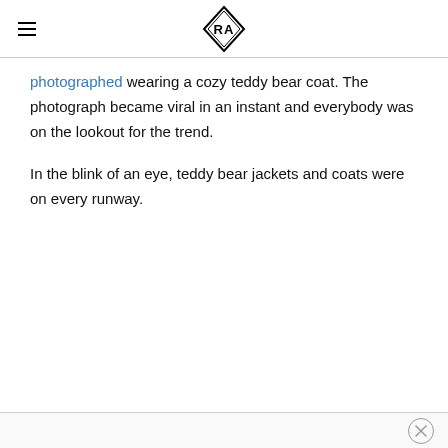[Logo: diamond shape with PA initials]
photographed wearing a cozy teddy bear coat. The photograph became viral in an instant and everybody was on the lookout for the trend.
In the blink of an eye, teddy bear jackets and coats were on every runway.
[close button]